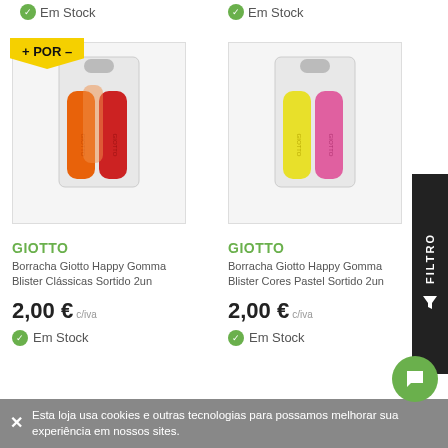Em Stock
Em Stock
[Figure (photo): + POR - badge with yellow speech bubble shape, above a blister pack of Giotto Happy Gomma Clássicas Sortido 2un erasers in orange and red colors]
[Figure (photo): Blister pack of Giotto Happy Gomma Cores Pastel Sortido 2un erasers in yellow and pink pastel colors]
GIOTTO
Borracha Giotto Happy Gomma Blister Clássicas Sortido 2un
2,00 € c/iva
Em Stock
GIOTTO
Borracha Giotto Happy Gomma Blister Cores Pastel Sortido 2un
2,00 € c/iva
Em Stock
FILTRO
Esta loja usa cookies e outras tecnologias para possamos melhorar sua experiência em nossos sites.